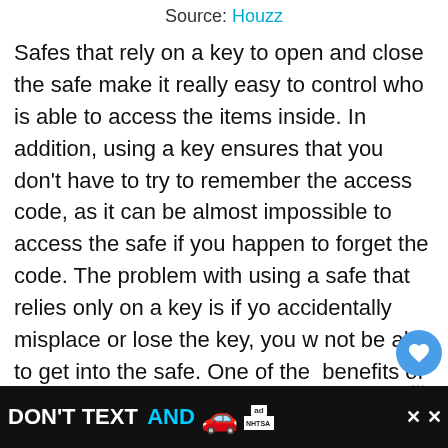Source: Houzz
Safes that rely on a key to open and close the safe make it really easy to control who is able to access the items inside. In addition, using a key ensures that you don't have to try to remember the access code, as it can be almost impossible to access the safe if you happen to forget the code. The problem with using a safe that relies only on a key is if you accidentally misplace or lose the key, you will not be able to get into the safe. One of the benefits of using a safe that requires a key for opening is that...
[Figure (screenshot): Ad banner at the bottom with text DON'T TEXT AND with a car emoji and NHTSA branding on a black background]